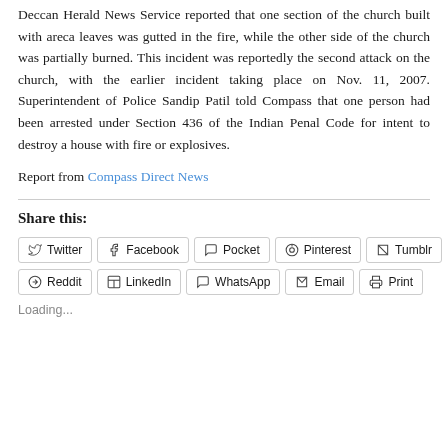Deccan Herald News Service reported that one section of the church built with areca leaves was gutted in the fire, while the other side of the church was partially burned. This incident was reportedly the second attack on the church, with the earlier incident taking place on Nov. 11, 2007. Superintendent of Police Sandip Patil told Compass that one person had been arrested under Section 436 of the Indian Penal Code for intent to destroy a house with fire or explosives.
Report from Compass Direct News
Share this:
Twitter
Facebook
Pocket
Pinterest
Tumblr
Reddit
LinkedIn
WhatsApp
Email
Print
Loading...